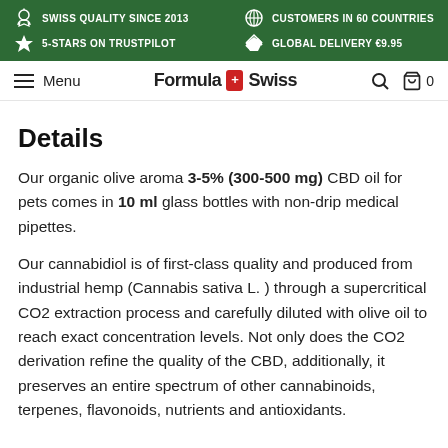SWISS QUALITY SINCE 2013 | 5-STARS ON TRUSTPILOT | CUSTOMERS IN 60 COUNTRIES | GLOBAL DELIVERY €9.95
Menu | Formula Swiss | Search | Cart 0
Details
Our organic olive aroma 3-5% (300-500 mg) CBD oil for pets comes in 10 ml glass bottles with non-drip medical pipettes.
Our cannabidiol is of first-class quality and produced from industrial hemp (Cannabis sativa L. ) through a supercritical CO2 extraction process and carefully diluted with olive oil to reach exact concentration levels. Not only does the CO2 derivation refine the quality of the CBD, additionally, it preserves an entire spectrum of other cannabinoids, terpenes, flavonoids, nutrients and antioxidants.